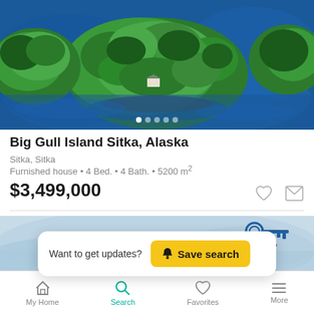[Figure (photo): Aerial view of Big Gull Island surrounded by blue water and covered in dense green forest with a small building visible]
Big Gull Island Sitka, Alaska
Sitka, Sitka
Furnished house • 4 Bed. • 4 Bath. • 5200 m²
$3,499,000
[Figure (screenshot): Want to get updates? Save search banner with yellow button and realty logo]
[Figure (photo): Partial scenic photo at bottom of screen]